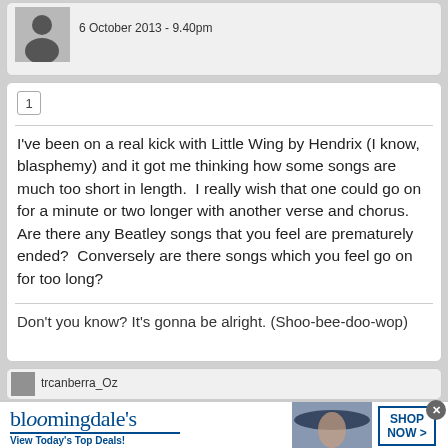6 October 2013 - 9.40pm
1
I've been on a real kick with Little Wing by Hendrix (I know, blasphemy) and it got me thinking how some songs are much too short in length.  I really wish that one could go on for a minute or two longer with another verse and chorus. Are there any Beatley songs that you feel are prematurely ended?  Conversely are there songs which you feel go on for too long?
Don't you know? It's gonna be alright. (Shoo-bee-doo-wop)
trcanberra_Oz
[Figure (infographic): Bloomingdale's advertisement banner with logo, 'View Today's Top Deals!' tagline, woman with wide-brim hat photo, and 'SHOP NOW >' button]